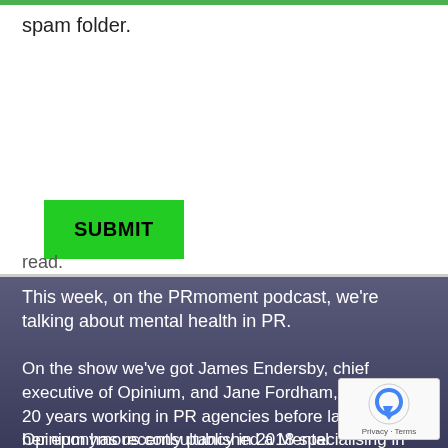spam folder.
SUBMIT
read.
This week, on the PRmoment podcast, we're talking about mental health in PR.
On the show we've got James Endersby, chief executive of Opinium, and Jane Fordham, who spent 20 years working in PR agencies before launching her eponymous consultancy in 2018 specialising in people, culture and diversity.
Opinium has recently published a Mental